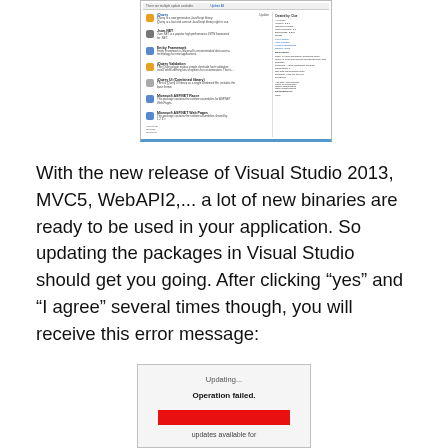[Figure (screenshot): NuGet Package Manager window showing list of packages including jQuery, Json.NET, Entity Framework, jQuery Validation, jQuery UI, Microsoft ASP.NET Razor, Microsoft ASP.NET Web Pages, with right panel showing package details.]
With the new release of Visual Studio 2013, MVC5, WebAPI2,... a lot of new binaries are ready to be used in your application. So updating the packages in Visual Studio should get you going. After clicking "yes" and "I agree" several times though, you will receive this error message:
[Figure (screenshot): Dialog box showing 'Updating...' text, 'Operation failed.' in bold, and a red error bar below it, with 'updates available for' text at the bottom.]